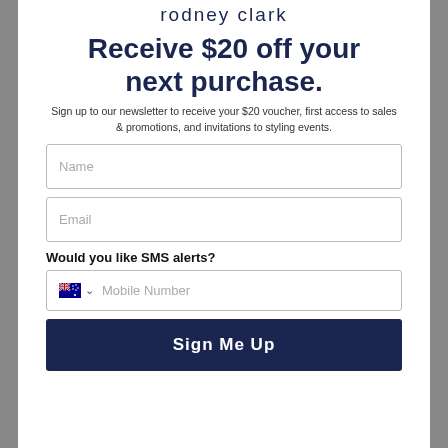rodney clark
Receive $20 off your next purchase.
Sign up to our newsletter to receive your $20 voucher, first access to sales & promotions, and invitations to styling events.
Name
Email
Would you like SMS alerts?
Mobile Number
Sign Me Up